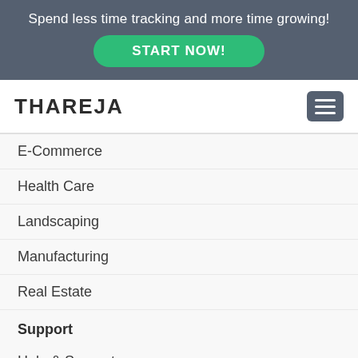Spend less time tracking and more time growing!
START NOW!
THAREJA
E-Commerce
Health Care
Landscaping
Manufacturing
Real Estate
Support
Help & Support
Status
Trust, Safety & Security
Selling On Thareja
Buying On Thareja